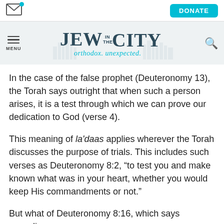[Figure (screenshot): Email icon in top navigation bar]
[Figure (screenshot): DONATE button (teal/cyan) in top navigation bar]
[Figure (logo): Jew in the City logo with tagline 'orthodox. unexpected.' Menu icon on left, search icon on right]
In the case of the false prophet (Deuteronomy 13), the Torah says outright that when such a person arises, it is a test through which we can prove our dedication to God (verse 4).
This meaning of la'daas applies wherever the Torah discusses the purpose of trials. This includes such verses as Deuteronomy 8:2, “to test you and make known what was in your heart, whether you would keep His commandments or not.”
But what of Deuteronomy 8:16, which says regarding